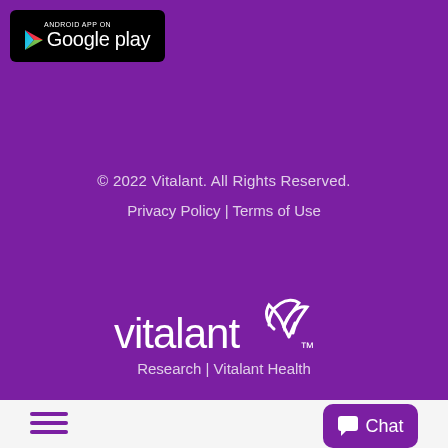[Figure (logo): Android App on Google Play store badge with black background, play triangle icon and Google play text in white]
© 2022 Vitalant. All Rights Reserved.
Privacy Policy | Terms of Use
[Figure (logo): Vitalant logo in white text with stylized butterfly/checkmark icon on purple background]
Research | Vitalant Health
[Figure (other): Hamburger menu icon (three purple horizontal lines) on white bar at bottom left]
[Figure (other): Purple Chat button with speech bubble icon on white bar at bottom right]